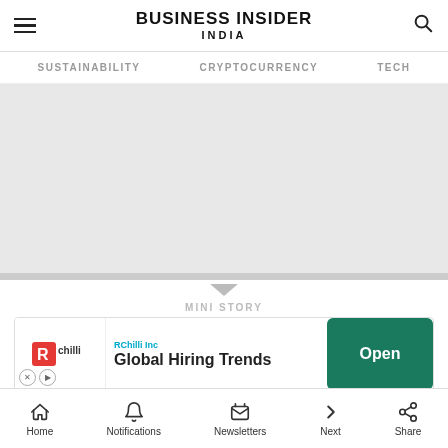Business Insider India
SUSTAINABILITY   CRYPTOCURRENCY   TECH
[Figure (photo): Gray placeholder image area for article content]
MINI STORY
[Figure (screenshot): Advertisement banner: RChilli Inc - Global Hiring Trends - Open button]
Home   Notifications   Newsletters   Next   Share